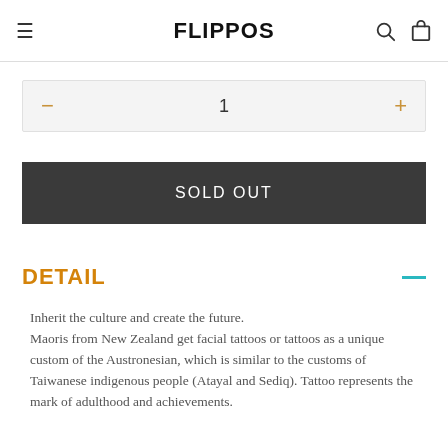FLIPPOS
1
SOLD OUT
DETAIL
Inherit the culture and create the future.
Maoris from New Zealand get facial tattoos or tattoos as a unique custom of the Austronesian, which is similar to the customs of Taiwanese indigenous people (Atayal and Sediq). Tattoo represents the mark of adulthood and achievements.